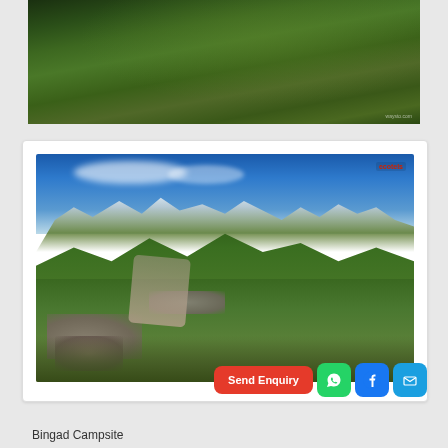[Figure (photo): Aerial/landscape view of green hillside with dark grass slopes]
[Figure (photo): Mountain valley landscape with snow-capped peaks, blue sky, green meadows, and rocky stream bed. Red watermark logo in top-right corner.]
Send Enquiry
Bingad Campsite